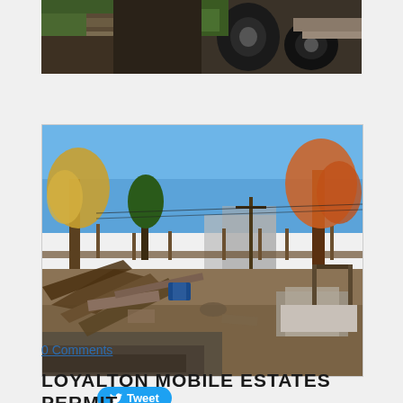[Figure (photo): Top partial photograph showing debris and tires on ground near a road or yard, cropped at top]
[Figure (photo): Outdoor scene showing a yard filled with debris, fallen tree branches, scrap metal, and junk on a sunny autumn day with trees showing fall colors in the background]
Tweet
0 Comments
LOYALTON MOBILE ESTATES PERMIT